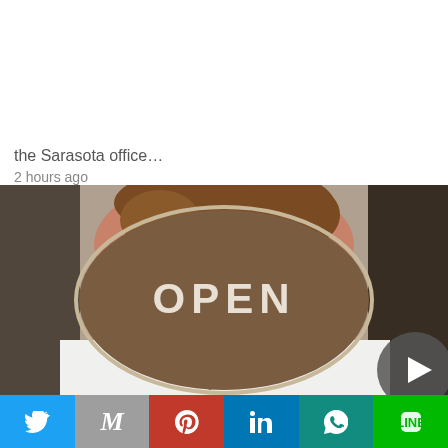the Sarasota office…
2 hours ago
[Figure (photo): Person holding a wooden speech-bubble-shaped OPEN sign in front of their face, smiling behind it. White shirt, blurred background.]
BUSINESS
Twitter | Gmail | Pinterest | LinkedIn | WhatsApp | LINE share buttons